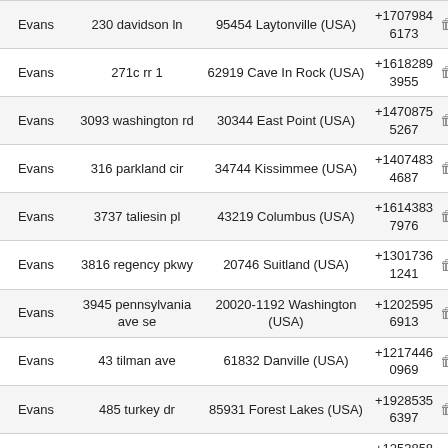| Evans | 230 davidson ln | 95454 Laytonville (USA) | +17079846173 | 🗑 |
| Evans | 271c rr 1 | 62919 Cave In Rock (USA) | +16182893955 | 🗑 |
| Evans | 3093 washington rd | 30344 East Point (USA) | +14708755267 | 🗑 |
| Evans | 316 parkland cir | 34744 Kissimmee (USA) | +14074834687 | 🗑 |
| Evans | 3737 taliesin pl | 43219 Columbus (USA) | +16143837976 | 🗑 |
| Evans | 3816 regency pkwy | 20746 Suitland (USA) | +13017361241 | 🗑 |
| Evans | 3945 pennsylvania ave se | 20020-1192 Washington (USA) | +12025956913 | 🗑 |
| Evans | 43 tilman ave | 61832 Danville (USA) | +12174460969 | 🗑 |
| Evans | 485 turkey dr | 85931 Forest Lakes (USA) | +19285356397 | 🗑 |
| Evans | 5009 debbie ct | 98335 Gig Harbor (USA) | +12538581139 | 🗑 |
| Evans | 604 n iowa st | 50616-1935 charles city (USA) | +14043756403 | 🗑 |
| Evans | 6071 linwood st | 48208 Detroit (USA) | +13138961244 | 🗑 |